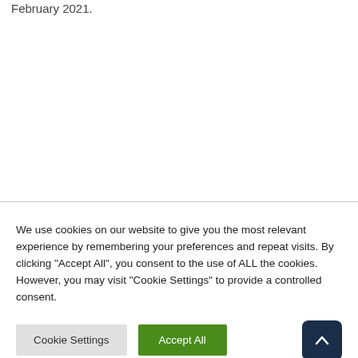February 2021.
We use cookies on our website to give you the most relevant experience by remembering your preferences and repeat visits. By clicking "Accept All", you consent to the use of ALL the cookies. However, you may visit "Cookie Settings" to provide a controlled consent.